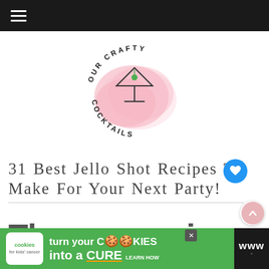≡ (hamburger menu)
[Figure (logo): Our Crafty Cocktails circular logo with text reading OUR CRAFTY COCKTAILS arranged in a circle around a martini glass icon on a pink watercolor splash background]
31 Best Jello Shot Recipes To Make For Your Next Party!
These amazing
[Figure (infographic): WHAT'S NEXT arrow banner with thumbnail image and text: Strawberry Lime...]
[Figure (infographic): Advertisement banner: cookies for kids cancer - turn your COOKIES into a CURE LEARN HOW]